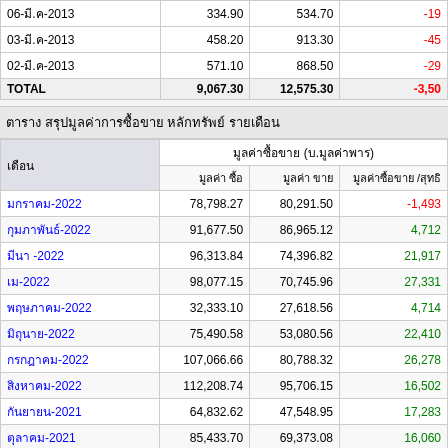| วันที่ | มูลค่า ซื้อ | มูลค่า ขาย | มูลค่าซื้อ-ขาย /สุทธิ |
| --- | --- | --- | --- |
| 06-มี.ค-2013 | 334.90 | 534.70 | -19 |
| 03-มี.ค-2013 | 458.20 | 913.30 | -45 |
| 02-มี.ค-2013 | 571.10 | 868.50 | -29 |
| TOTAL | 9,067.30 | 12,575.30 | -3,50 |
ตาราง สรุปมูลค่าการซื้อขาย หลักทรัพย์ รายเดือน
| เดือน | มูลค่า ซื้อ | มูลค่า ขาย | มูลค่าซื้อ-ขาย /สุทธิ |
| --- | --- | --- | --- |
| มกราคม-2022 | 78,798.27 | 80,291.50 | -1,493 |
| กุมภาพันธ์-2022 | 91,677.50 | 86,965.12 | 4,712 |
| มีนา -2022 | 96,313.84 | 74,396.82 | 21,917 |
| เม-2022 | 98,077.15 | 70,745.96 | 27,331 |
| พฤษภาคม-2022 | 32,333.10 | 27,618.56 | 4,714 |
| มิถุนาย-2022 | 75,490.58 | 53,080.56 | 22,410 |
| กรกฎาคม-2022 | 107,066.66 | 80,788.32 | 26,278 |
| สิงหาคม-2022 | 112,208.74 | 95,706.15 | 16,502 |
| กันยายน-2021 | 64,832.62 | 47,548.95 | 17,283 |
| ตุลาคม-2021 | 85,433.70 | 69,373.08 | 16,060 |
| พฤศจิกายน-2021 | 104,707.88 | 103,198.40 | 1,509 |
| ธันวาคม-2021 | 75,759.19 | 70,972.09 | 4,787 |
| มกราคม-2021 | 99,119.53 | 87,573.68 | 11,545 |
| กุมภาพันธ์-2021 | 84,691.53 | 69,260.53 | 15,431 |
| มีนา -2021 | 20,726.86 | 21,847.26 | -120 |